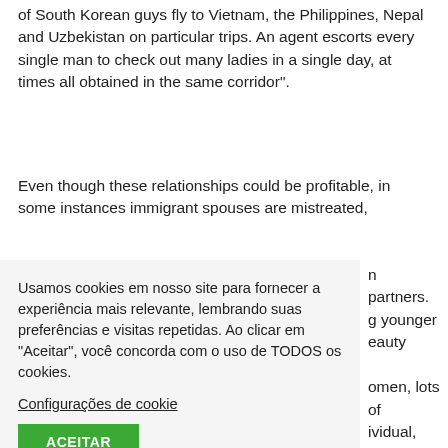of South Korean guys fly to Vietnam, the Philippines, Nepal and Uzbekistan on particular trips. An agent escorts every single man to check out many ladies in a single day, at times all obtained in the same corridor".
Even though these relationships could be profitable, in some instances immigrant spouses are mistreated, ...n partners. ...g younger ...eauty ...omen, lots of ...ividual, and ...ajor Historical ...brides. ...while mail ...ales also ...e wives because they worked overseas in the 1800s.
Usamos cookies em nosso site para fornecer a experiência mais relevante, lembrando suas preferências e visitas repetidas. Ao clicar em "Aceitar", você concorda com o uso de TODOS os cookies. Configurações de cookie ACEITAR